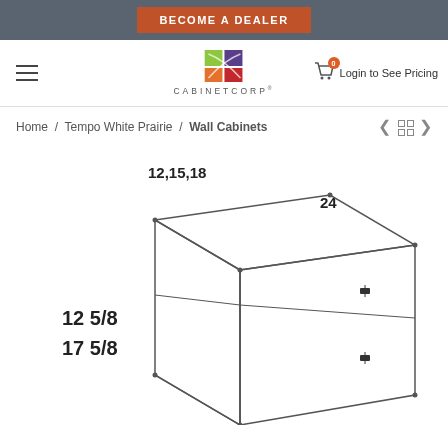BECOME A DEALER
[Figure (logo): CabinetCorp logo with colorful abstract squares and swoosh]
Login to See Pricing
Home / Tempo White Prairie / Wall Cabinets
[Figure (engineering-diagram): Wall cabinet isometric engineering diagram showing dimensions: width 12,15,18; depth 24; heights 12 5/8 and 17 5/8]